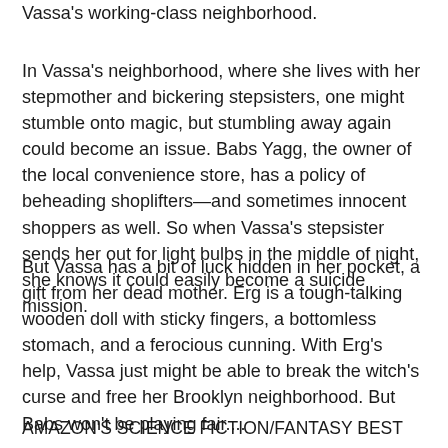Vassa's working-class neighborhood.
In Vassa's neighborhood, where she lives with her stepmother and bickering stepsisters, one might stumble onto magic, but stumbling away again could become an issue. Babs Yagg, the owner of the local convenience store, has a policy of beheading shoplifters—and sometimes innocent shoppers as well. So when Vassa's stepsister sends her out for light bulbs in the middle of night, she knows it could easily become a suicide mission.
But Vassa has a bit of luck hidden in her pocket, a gift from her dead mother. Erg is a tough-talking wooden doll with sticky fingers, a bottomless stomach, and a ferocious cunning. With Erg's help, Vassa just might be able to break the witch's curse and free her Brooklyn neighborhood. But Babs won't be playing fair....
AMAZON'S SCIENCE FICTION/FANTASY BEST